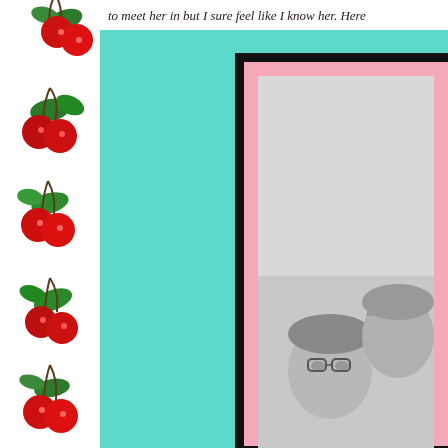to meet her in but I sure feel like I know her. Here
[Figure (illustration): Decorative strip of illustrated red cherries with green leaves repeated vertically along the left side of the page]
[Figure (photo): Black and white vintage photograph of two children (a boy wearing glasses and a girl) framed with a black border and pink mat]